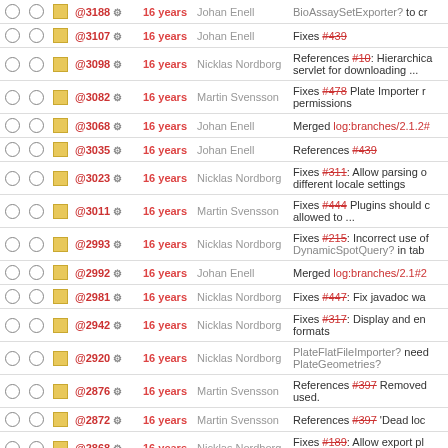|  |  |  | Rev | Age | Author | Log Message |
| --- | --- | --- | --- | --- | --- | --- |
| ○ | ○ | □ | @3107 | 16 years | Johan Enell | Fixes #439 |
| ○ | ○ | □ | @3098 | 16 years | Nicklas Nordborg | References #10: Hierarchica servlet for downloading ... |
| ○ | ○ | □ | @3082 | 16 years | Martin Svensson | Fixes #478 Plate Importer r permissions |
| ○ | ○ | □ | @3068 | 16 years | Johan Enell | Merged log:branches/2.1.2# |
| ○ | ○ | □ | @3035 | 16 years | Johan Enell | References #439 |
| ○ | ○ | □ | @3023 | 16 years | Nicklas Nordborg | Fixes #311: Allow parsing o different locale settings |
| ○ | ○ | □ | @3011 | 16 years | Martin Svensson | Fixes #444 Plugins should c allowed to ... |
| ○ | ○ | □ | @2993 | 16 years | Nicklas Nordborg | Fixes #215: Incorrect use o DynamicSpotQuery? in tab |
| ○ | ○ | □ | @2992 | 16 years | Johan Enell | Merged log:branches/2.1#2 |
| ○ | ○ | □ | @2981 | 16 years | Nicklas Nordborg | Fixes #447: Fix javadoc wa |
| ○ | ○ | □ | @2942 | 16 years | Nicklas Nordborg | Fixes #317: Display and en formats |
| ○ | ○ | □ | @2920 | 16 years | Nicklas Nordborg | PlateFlatFileImporter? nee PlateGeometries? |
| ○ | ○ | □ | @2876 | 16 years | Martin Svensson | References #397 Removed used. |
| ○ | ○ | □ | @2872 | 16 years | Martin Svensson | References #397 'Dead loc |
| ○ | ○ | □ | @2868 | 16 years | Nicklas Nordborg | Fixes #189: Allow export pl download immediately to ... |